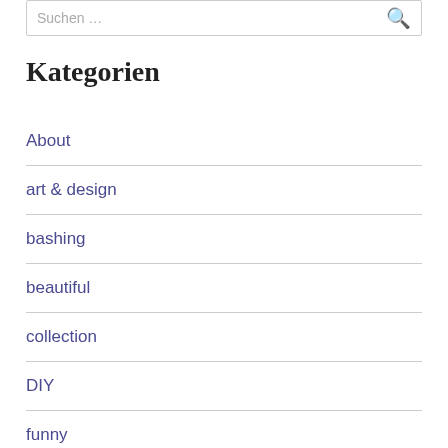Suchen …
Kategorien
About
art & design
bashing
beautiful
collection
DIY
funny
interesting
Kultur